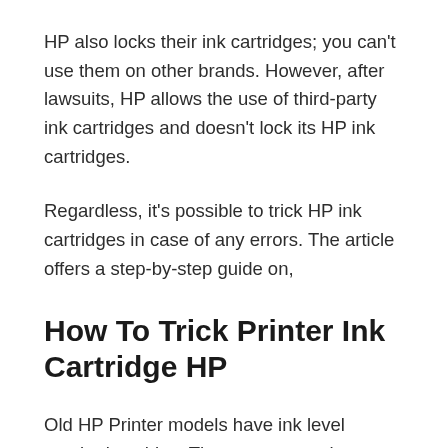HP also locks their ink cartridges; you can't use them on other brands. However, after lawsuits, HP allows the use of third-party ink cartridges and doesn't lock its HP ink cartridges.
Regardless, it's possible to trick HP ink cartridges in case of any errors. The article offers a step-by-step guide on,
How To Trick Printer Ink Cartridge HP
Old HP Printer models have ink level monitoring chips. There are several ways to outsmart the HP ink cartridges chips. You can also use the tricks on